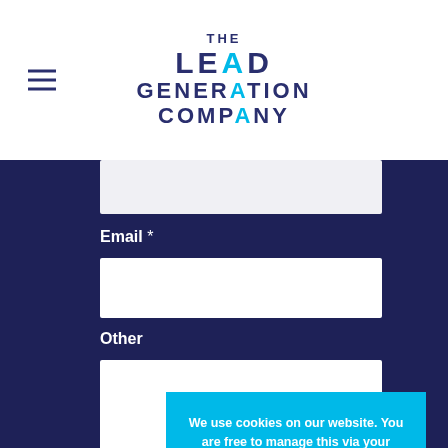[Figure (logo): The Lead Generation Company logo with hamburger menu icon on the left]
Email *
Other
Get a C[opy]
We use cookies on our website. You are free to manage this via your browser settings at any time. To learn more about how we use our cookies